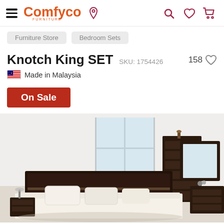Comfyco Furniture — navigation header with hamburger menu, logo, location pin, search, wishlist, and cart icons
Furniture Store
Bedroom Sets
Knotch King SET  SKU: 1754426
🇲🇾 Made in Malaysia
On Sale
[Figure (photo): Product photo of a dark espresso wood king bedroom set featuring a low-profile platform bed with cream pillows, tall multi-drawer chest, mirror, and dresser in a bright room with large windows.]